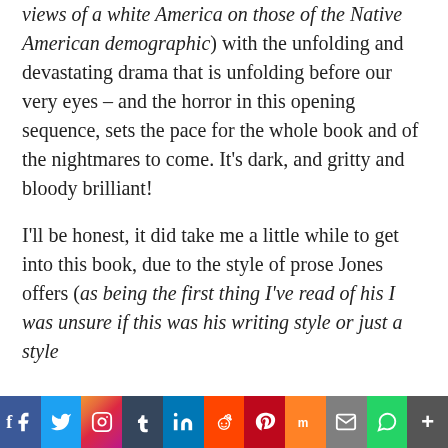views of a white America on those of the Native American demographic) with the unfolding and devastating drama that is unfolding before our very eyes – and the horror in this opening sequence, sets the pace for the whole book and of the nightmares to come. It's dark, and gritty and bloody brilliant!

I'll be honest, it did take me a little while to get into this book, due to the style of prose Jones offers (as being the first thing I've read of his I was unsure if this was his writing style or just a style used for this book) it was certainly a
[Figure (other): Social media sharing bar with buttons for Facebook, Twitter, Instagram, Tumblr, LinkedIn, Reddit, Pinterest, Mix, Email, WhatsApp, and More]